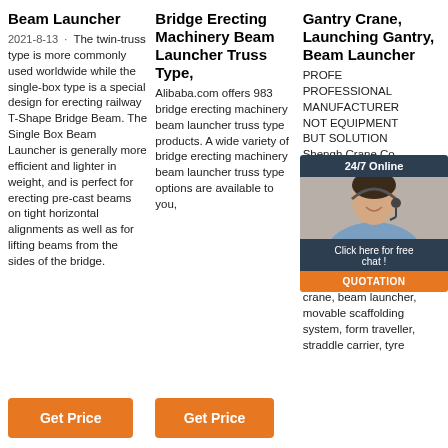Beam Launcher
2021-8-13 · The twin-truss type is more commonly used worldwide while the single-box type is a special design for erecting railway T-Shape Bridge Beam. The Single Box Beam Launcher is generally more efficient and lighter in weight, and is perfect for erecting pre-cast beams on tight horizontal alignments as well as for lifting beams from the sides of the bridge.
Get Price
Bridge Erecting Machinery Beam Launcher Truss Type,
Alibaba.com offers 983 bridge erecting machinery beam launcher truss type products. A wide variety of bridge erecting machinery beam launcher truss type options are available to you,
Get Price
Gantry Crane, Launching Gantry, Beam Launcher
PROFESSIONAL MANUFACTURER NOT EQUIPMENT BUT SOLUTION Shengh Crane Co. enterprise specializing in research, development, producing and exporting. It mainly produces launching gantry, overhead crane and gantry crane, beam launcher, movable scaffolding system, form traveller, straddle carrier, tyre
[Figure (illustration): Chat support overlay with agent photo, '24/7 Online' header, 'Click here for free chat!' message, and orange QUOTATION button]